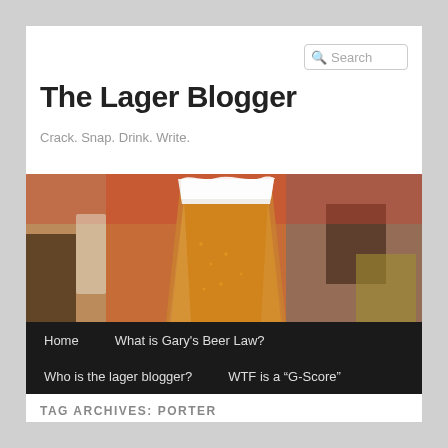Search
The Lager Blogger
Crack. Snap. Drink. Write.
[Figure (photo): A glass of amber/golden lager beer with a white foam head, sitting on a table in a blurred restaurant or bar background with warm orange and brown tones.]
Home
What is Gary's Beer Law?
Who is the lager blogger?
WTF is a “G-Score”
TAG ARCHIVES: PORTER